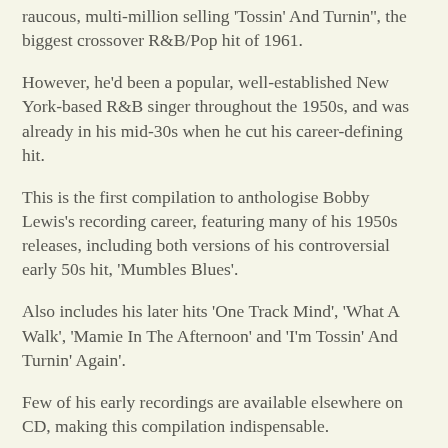raucous, multi-million selling 'Tossin' And Turnin'', the biggest crossover R&B/Pop hit of 1961.
However, he'd been a popular, well-established New York-based R&B singer throughout the 1950s, and was already in his mid-30s when he cut his career-defining hit.
This is the first compilation to anthologise Bobby Lewis's recording career, featuring many of his 1950s releases, including both versions of his controversial early 50s hit, 'Mumbles Blues'.
Also includes his later hits 'One Track Mind', 'What A Walk', 'Mamie In The Afternoon' and 'I'm Tossin' And Turnin' Again'.
Few of his early recordings are available elsewhere on CD, making this compilation indispensable.
'Tossin' And Turnin' was later used to tremendous effect in both 'American Graffiti' (1973), and 'Animal House' (1978), and it remains one of America's favourite radio oldies to this very day.